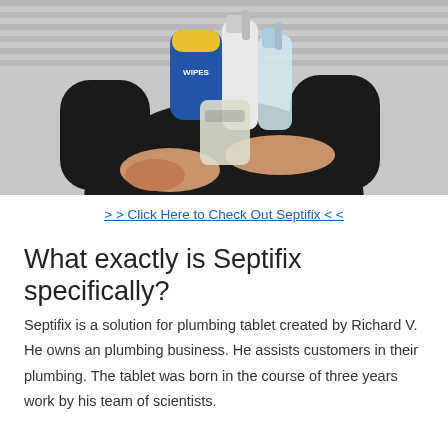[Figure (photo): Person dressed in black holding multiple cleaning product bottles and containers including a blue spray bottle, white bottle with pump, and other cleaning supplies against a light gray background.]
> > Click Here to Check Out Septifix < <
What exactly is Septifix specifically?
Septifix is a solution for plumbing tablet created by Richard V. He owns an plumbing business. He assists customers in their plumbing. The tablet was born in the course of three years work by his team of scientists.